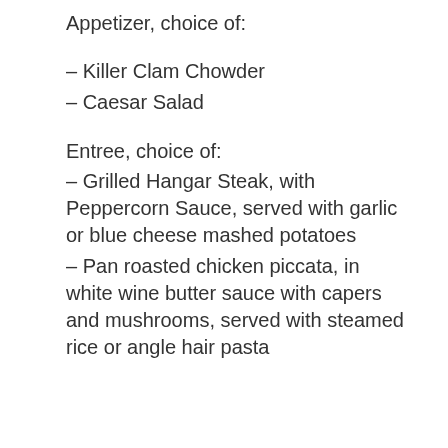Appetizer, choice of:
– Killer Clam Chowder
– Caesar Salad
Entree, choice of:
– Grilled Hangar Steak, with Peppercorn Sauce, served with garlic or blue cheese mashed potatoes
– Pan roasted chicken piccata, in white wine butter sauce with capers and mushrooms, served with steamed rice or angle hair pasta